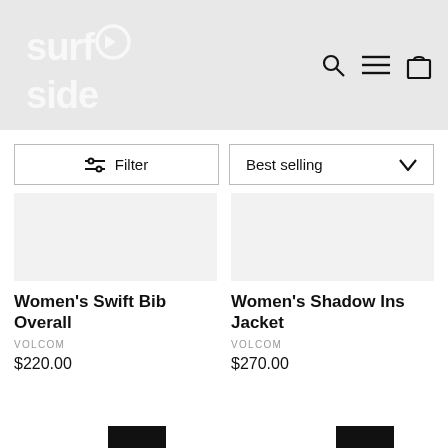[Figure (logo): Surfside logo in white on grey background]
Filter
Best selling
Women's Swift Bib Overall
VOLCOM
$220.00
Women's Shadow Ins Jacket
VOLCOM
$270.00